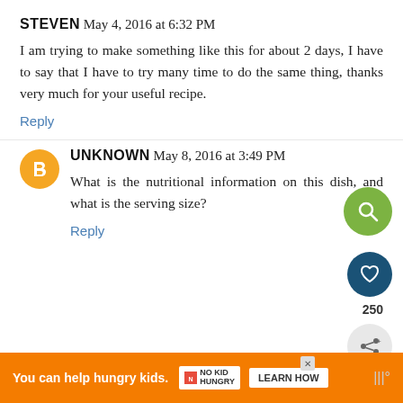STEVEN May 4, 2016 at 6:32 PM
I am trying to make something like this for about 2 days, I have to say that I have to try many time to do the same thing, thanks very much for your useful recipe.
Reply
[Figure (infographic): Green circle search button icon on right side]
[Figure (infographic): Dark blue circle heart/save icon on right side with count 250]
[Figure (infographic): Share button icon on right side]
UNKNOWN May 8, 2016 at 3:49 PM
What is the nutritional information on this dish, and what is the serving size?
Reply
[Figure (infographic): What's Next banner with Sheet Pan Eggplant... thumbnail on right side]
[Figure (infographic): Ad banner: You can help hungry kids. No Kid Hungry. Learn How button.]